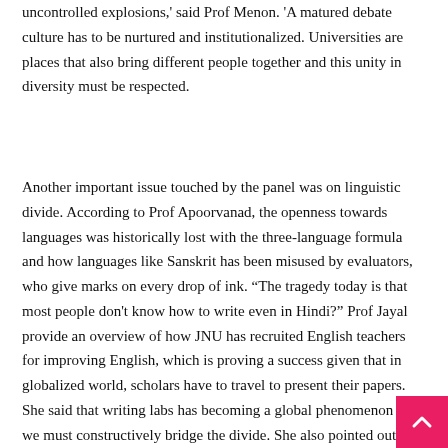uncontrolled explosions,' said Prof Menon. 'A matured debate culture has to be nurtured and institutionalized. Universities are places that also bring different people together and this unity in diversity must be respected.
Another important issue touched by the panel was on linguistic divide. According to Prof Apoorvanad, the openness towards languages was historically lost with the three-language formula and how languages like Sanskrit has been misused by evaluators, who give marks on every drop of ink. “The tragedy today is that most people don't know how to write even in Hindi?” Prof Jayal provide an overview of how JNU has recruited English teachers for improving English, which is proving a success given that in globalized world, scholars have to travel to present their papers. She said that writing labs has becoming a global phenomenon and we must constructively bridge the divide. She also pointed out that translation of good books must take place, which at present doesn't.